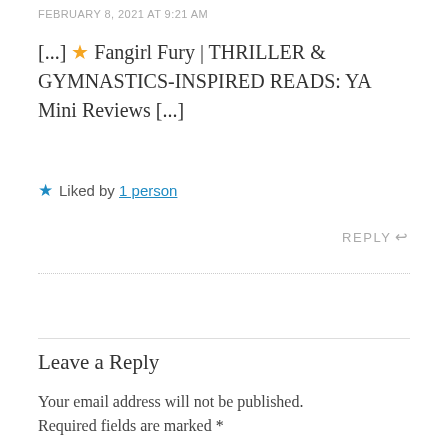FEBRUARY 8, 2021 AT 9:21 AM
[...] ★ Fangirl Fury | THRILLER & GYMNASTICS-INSPIRED READS: YA Mini Reviews [...]
★ Liked by 1 person
REPLY ↩
Leave a Reply
Your email address will not be published. Required fields are marked *